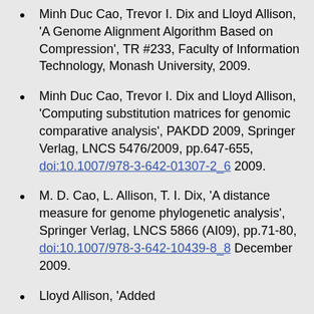Minh Duc Cao, Trevor I. Dix and Lloyd Allison, 'A Genome Alignment Algorithm Based on Compression', TR #233, Faculty of Information Technology, Monash University, 2009.
Minh Duc Cao, Trevor I. Dix and Lloyd Allison, 'Computing substitution matrices for genomic comparative analysis', PAKDD 2009, Springer Verlag, LNCS 5476/2009, pp.647-655, doi:10.1007/978-3-642-01307-2_6 2009.
M. D. Cao, L. Allison, T. I. Dix, 'A distance measure for genome phylogenetic analysis', Springer Verlag, LNCS 5866 (AI09), pp.71-80, doi:10.1007/978-3-642-10439-8_8 December 2009.
Lloyd Allison, 'Added